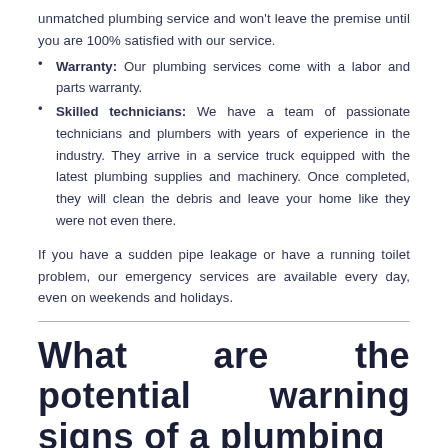unmatched plumbing service and won't leave the premise until you are 100% satisfied with our service.
Warranty: Our plumbing services come with a labor and parts warranty.
Skilled technicians: We have a team of passionate technicians and plumbers with years of experience in the industry. They arrive in a service truck equipped with the latest plumbing supplies and machinery. Once completed, they will clean the debris and leave your home like they were not even there.
If you have a sudden pipe leakage or have a running toilet problem, our emergency services are available every day, even on weekends and holidays.
What are the potential warning signs of a plumbing